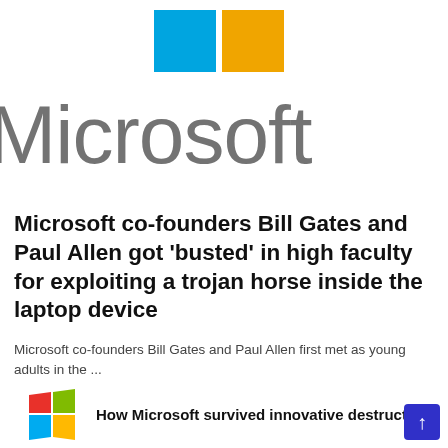[Figure (logo): Microsoft logo: two colored squares (cyan and orange/yellow) above large gray Microsoft wordmark text]
Microsoft co-founders Bill Gates and Paul Allen got 'busted' in high faculty for exploiting a trojan horse inside the laptop device
Microsoft co-founders Bill Gates and Paul Allen first met as young adults in the ...
[Figure (logo): Old Microsoft Windows logo (4 colored window panes: red, green, blue, yellow)]
How Microsoft survived innovative destruction